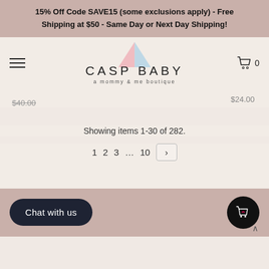15% Off Code SAVE15 (some exclusions apply) - Free Shipping at $50 - Same Day or Next Day Shipping!
[Figure (logo): CASP BABY logo with a triangle made of pink and blue colors and tagline 'a mommy & me boutique']
$40.00 (strikethrough) and $24.00
Showing items 1-30 of 282.
1 2 3 ... 10 >